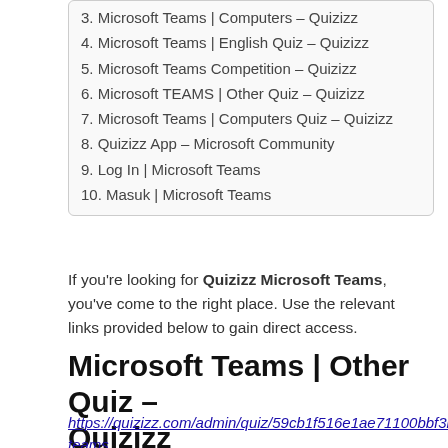3. Microsoft Teams | Computers – Quizizz
4. Microsoft Teams | English Quiz – Quizizz
5. Microsoft Teams Competition – Quizizz
6. Microsoft TEAMS | Other Quiz – Quizizz
7. Microsoft Teams | Computers Quiz – Quizizz
8. Quizizz App – Microsoft Community
9. Log In | Microsoft Teams
10. Masuk | Microsoft Teams
If you're looking for Quizizz Microsoft Teams, you've come to the right place. Use the relevant links provided below to gain direct access.
Microsoft Teams | Other Quiz – Quizizz
https://quizizz.com/admin/quiz/59cb1f516e1ae71100bbf3b7/microsoft-teams